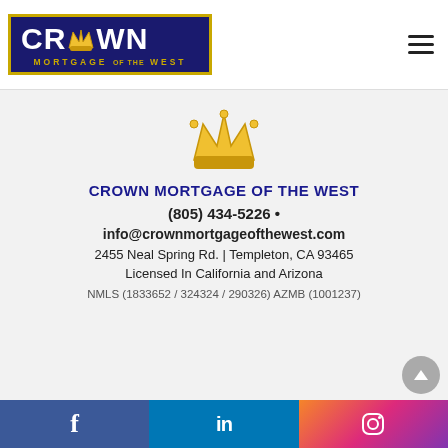[Figure (logo): Crown Mortgage of the West logo with dark blue background, gold crown icon, white CROWN text, and gold MORTGAGE OF THE WEST subtext]
[Figure (illustration): Gold crown emoji illustration centered on gray background]
CROWN MORTGAGE OF THE WEST
(805) 434-5226 •
info@crownmortgageofthewest.com
2455 Neal Spring Rd. | Templeton, CA 93465
Licensed In California and Arizona
NMLS (1833652 / 324324 / 290326) AZMB (1001237)
Facebook | LinkedIn | Instagram social media icons